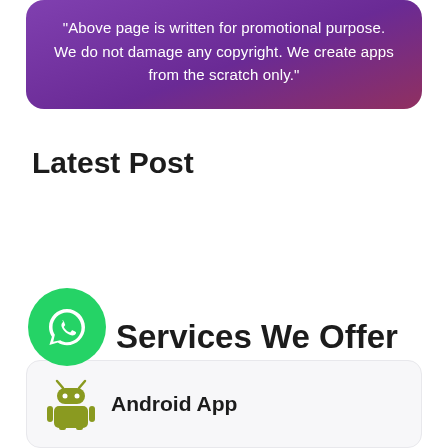"Above page is written for promotional purpose. We do not damage any copyright. We create apps from the scratch only."
Latest Post
Services We Offer
[Figure (logo): WhatsApp green circle button with phone handset icon]
[Figure (logo): Android robot icon in olive/yellow-green color]
Android App